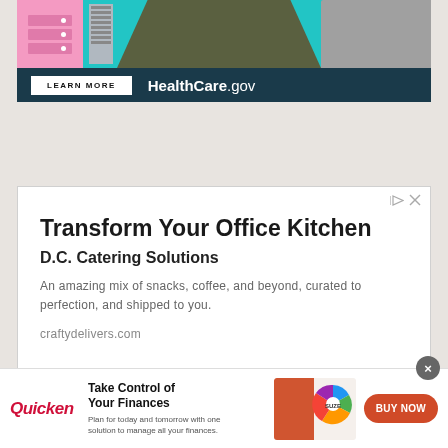[Figure (photo): HealthCare.gov banner advertisement with colorful illustration of office items and people, featuring a 'LEARN MORE' button and HealthCare.gov branding on dark navy background]
[Figure (infographic): Advertisement card for D.C. Catering Solutions - 'Transform Your Office Kitchen' with subtitle, description text, and blue button at bottom. Ad icons (play/close) in top right corner.]
Transform Your Office Kitchen
D.C. Catering Solutions
An amazing mix of snacks, coffee, and beyond, curated to perfection, and shipped to you.
craftydelivers.com
[Figure (infographic): Quicken bottom banner ad with logo, 'Take Control of Your Finances' headline, person with pie chart image, and red 'BUY NOW' button. Close (X) button in top right corner.]